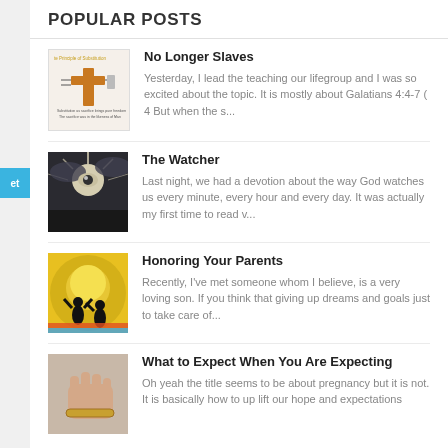POPULAR POSTS
No Longer Slaves — Yesterday, I lead the teaching our lifegroup and I was so excited about the topic. It is mostly about Galatians 4:4-7 ( 4 But when the s...
The Watcher — Last night, we had a devotion about the way God watches us every minute, every hour and every day. It was actually my first time to read v...
Honoring Your Parents — Recently, I've met someone whom I believe, is a very loving son. If you think that giving up dreams and goals just to take care of...
What to Expect When You Are Expecting — Oh yeah the title seems to be about pregnancy but it is not. It is basically how to up lift our hope and expectations